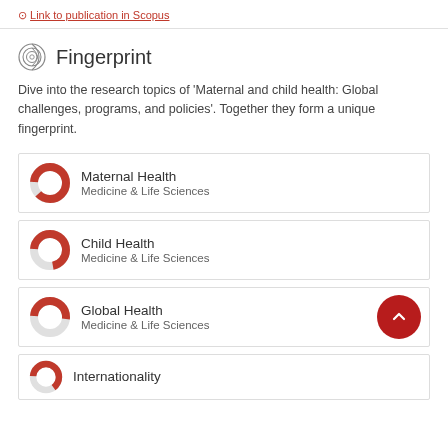Link to publication in Scopus
Fingerprint
Dive into the research topics of 'Maternal and child health: Global challenges, programs, and policies'. Together they form a unique fingerprint.
Maternal Health — Medicine & Life Sciences
Child Health — Medicine & Life Sciences
Global Health — Medicine & Life Sciences
Internationality